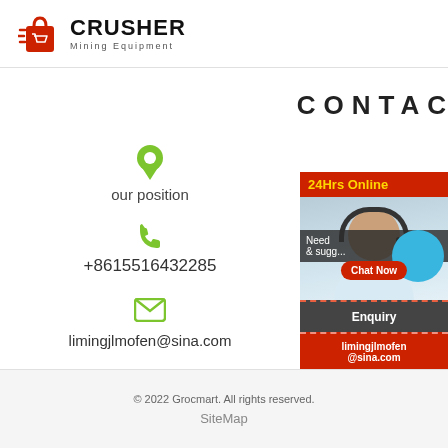[Figure (logo): Crusher Mining Equipment logo with red shopping bag icon and bold black CRUSHER text]
CONTACTS
[Figure (illustration): Green map location pin icon]
our position
[Figure (illustration): Green phone handset icon]
+8615516432285
[Figure (illustration): Green envelope/email icon]
limingjlmofen@sina.com
[Figure (photo): Customer service sidebar with 24Hrs Online header, photo of woman with headset, chat bubble, Need & suggestions text, Chat Now button, Enquiry section, and limingjlmofen@sina.com email]
© 2022 Grocmart. All rights reserved.
SiteMap